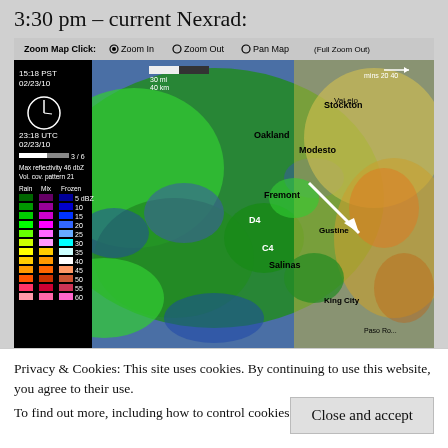3:30 pm – current Nexrad:
[Figure (map): NEXRAD radar map showing precipitation over the San Francisco Bay Area and Central Valley, California. Timestamp 15:18 PST 02/23/10 (23:18 UTC). Shows radar reflectivity color legend (Rain, Mix, Frozen) from 5 dBZ to 60 dBZ. Map shows Oakland, Fremont, Stockton, Modesto, Salinas and surrounding areas with green/blue rain areas and yellow/orange/red dry areas. White arrow pointing southeast. Zoom controls at top: Zoom In, Zoom Out, Pan Map, Full Zoom Out. Scale bar showing 30mi/40km. Max reflectivity 46 dbZ, Vol. cov. pattern 21.]
Privacy & Cookies: This site uses cookies. By continuing to use this website, you agree to their use.
To find out more, including how to control cookies, see here: Cookie Policy
Close and accept